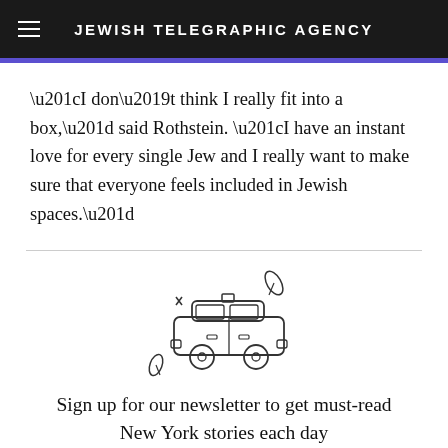JEWISH TELEGRAPHIC AGENCY
“I don’t think I really fit into a box,” said Rothstein. “I have an instant love for every single Jew and I really want to make sure that everyone feels included in Jewish spaces.”
[Figure (illustration): Line drawing illustration of a taxi cab with decorative leaf/feather elements around it]
Sign up for our newsletter to get must-read New York stories each day